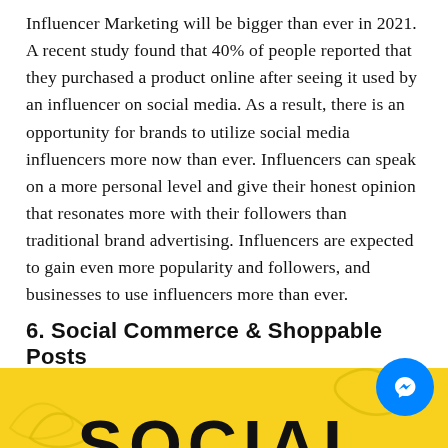Influencer Marketing will be bigger than ever in 2021. A recent study found that 40% of people reported that they purchased a product online after seeing it used by an influencer on social media. As a result, there is an opportunity for brands to utilize social media influencers more now than ever. Influencers can speak on a more personal level and give their honest opinion that resonates more with their followers than traditional brand advertising. Influencers are expected to gain even more popularity and followers, and businesses to use influencers more than ever.
6. Social Commerce & Shoppable Posts
[Figure (illustration): Yellow background banner with decorative curved shapes and large bold text reading 'SOCIAL' partially visible at the bottom. A blue circular Messenger icon button overlays the top-right corner.]